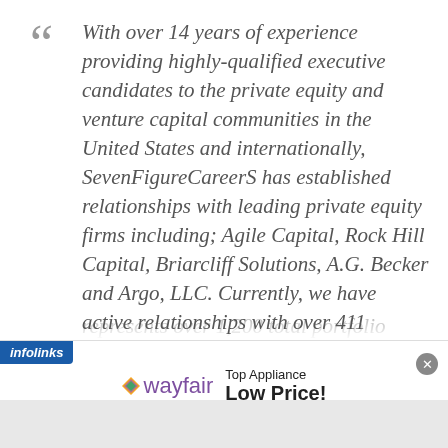With over 14 years of experience providing highly-qualified executive candidates to the private equity and venture capital communities in the United States and internationally, SevenFigureCareerS has established relationships with leading private equity firms including; Agile Capital, Rock Hill Capital, Briarcliff Solutions, A.G. Becker and Argo, LLC.  Currently, we have active relationships with over 411 companies which represents over 1,200 total portfolio
[Figure (screenshot): Wayfair advertisement banner with infolinks label, showing wayfair logo and 'Top Appliance Low Price!' text]